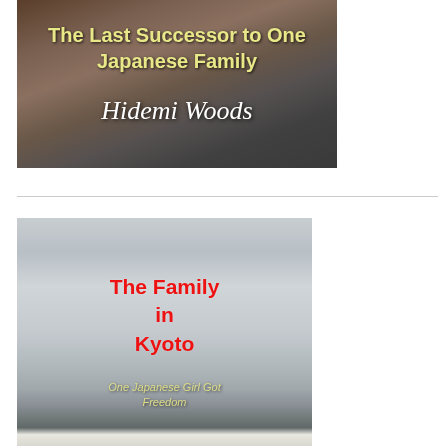[Figure (photo): Book cover for 'The Last Successor to One Japanese Family' by Hidemi Woods. Background shows an aerial cityscape. Title text in bold yellow-green, author name in white italic script.]
[Figure (photo): Book cover for 'The Family in Kyoto' with subtitle 'One Japanese Girl Got Freedom'. Background shows a misty mountain landscape with snow-covered trees. Title text in bold red, subtitle in yellow-green italic.]